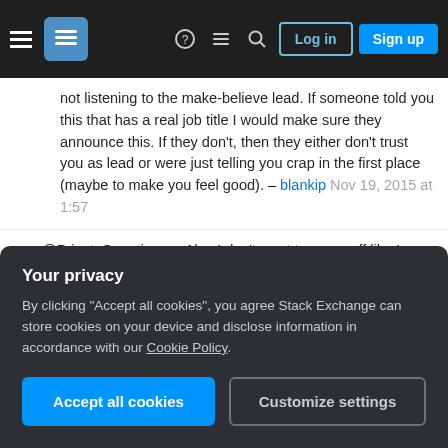Stack Exchange navigation bar with Log in and Sign up buttons
not listening to the make-believe lead. If someone told you this that has a real job title I would make sure they announce this. If they don't, then they either don't trust you as lead or were just telling you crap in the first place (maybe to make you feel good). – blankip Nov 19, 2015 at 1:57
2 @PrivateQuestioner - Also I don't want to come off like I am saying you aren't the lead or don't have the ability. It is to the contrary. I don't know you. But understand your coworker is in the same place I am - he doesn't know. Someone will listen to you because they are foolish and listen to everyone, they are told to listen to you, or you have built enough cred with the person that
Your privacy
By clicking "Accept all cookies", you agree Stack Exchange can store cookies on your device and disclose information in accordance with our Cookie Policy.
Accept all cookies  Customize settings
structure put in place. If that puts me as lead, great, if not then at least everyone knows their place.